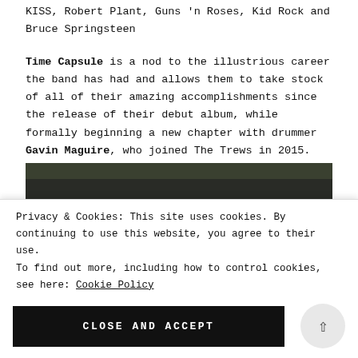KISS, Robert Plant, Guns 'n Roses, Kid Rock and Bruce Springsteen
Time Capsule is a nod to the illustrious career the band has had and allows them to take stock of all of their amazing accomplishments since the release of their debut album, while formally beginning a new chapter with drummer Gavin Maguire, who joined The Trews in 2015.
[Figure (photo): Band photo showing four members of The Trews, heads visible above bottom of frame, wearing hats, against a wooden backdrop with dark fabric/draping above]
Privacy & Cookies: This site uses cookies. By continuing to use this website, you agree to their use.
To find out more, including how to control cookies, see here: Cookie Policy
CLOSE AND ACCEPT